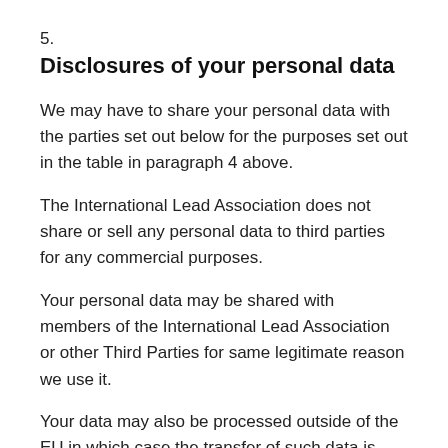5.
Disclosures of your personal data
We may have to share your personal data with the parties set out below for the purposes set out in the table in paragraph 4 above.
The International Lead Association does not share or sell any personal data to third parties for any commercial purposes.
Your personal data may be shared with members of the International Lead Association or other Third Parties for same legitimate reason we use it.
Your data may also be processed outside of the EU in which case the transfer of such data is